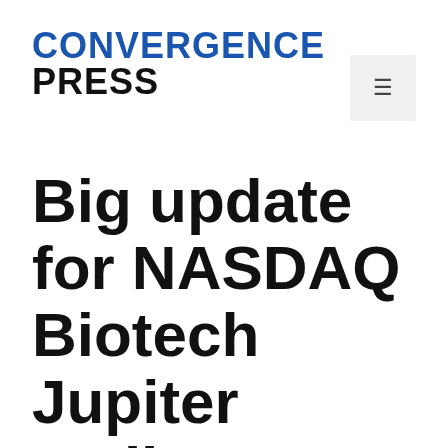CONVERGENCE PRESS
Big update for NASDAQ Biotech Jupiter Wellness: NASDAQ: JUPW Applies for IND